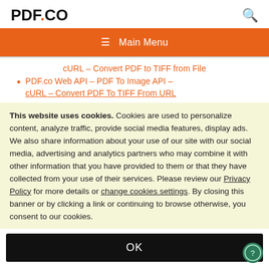PDF.CO
≡  Main Menu
cURL – Convert PDF to TIFF from File
PDF.co Web API – PDF To Image API – cURL – Convert PDF To TIFF From URL
This website uses cookies. Cookies are used to personalize content, analyze traffic, provide social media features, display ads. We also share information about your use of our site with our social media, advertising and analytics partners who may combine it with other information that you have provided to them or that they have collected from your use of their services. Please review our Privacy Policy for more details or change cookies settings. By closing this banner or by clicking a link or continuing to browse otherwise, you consent to our cookies.
OK